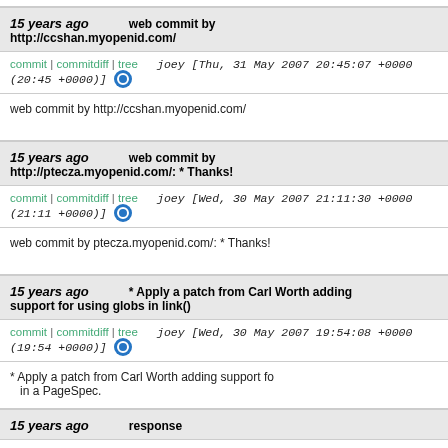15 years ago   web commit by http://ccshan.myopenid.com/
commit | commitdiff | tree   joey [Thu, 31 May 2007 20:45:07 +0000 (20:45 +0000)]
web commit by http://ccshan.myopenid.com/
15 years ago   web commit by http://ptecza.myopenid.com/: * Thanks!
commit | commitdiff | tree   joey [Wed, 30 May 2007 21:11:30 +0000 (21:11 +0000)]
web commit by ptecza.myopenid.com/: * Thanks!
15 years ago   * Apply a patch from Carl Worth adding support for using globs in link()
commit | commitdiff | tree   joey [Wed, 30 May 2007 19:54:08 +0000 (19:54 +0000)]
* Apply a patch from Carl Worth adding support fo in a PageSpec.
15 years ago   response